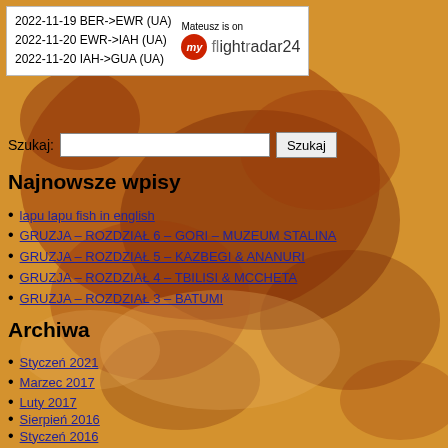[Figure (map): Antique-style world map with brown/orange tones showing Europe and surrounding regions as background]
2022-11-19 BER->EWR (UA)
2022-11-20 EWR->IAH (UA)
2022-11-20 IAH->GUA (UA)
[Figure (logo): Mateusz is on my flightradar24 badge with red circular icon]
Szukaj:
Najnowsze wpisy
lapu lapu fish in english
GRUZJA – ROZDZIAŁ 6 – GORI – MUZEUM STALINA
GRUZJA – ROZDZIAŁ 5 – KAZBEGI & ANANURI
GRUZJA – ROZDZIAŁ 4 – TBILISI & MCCHETA
GRUZJA – ROZDZIAŁ 3 – BATUMI
Archiwa
Styczeń 2021
Marzec 2017
Luty 2017
Sierpień 2016
Styczeń 2016
Grudzień 2015
Maj 2015
Luty 2015